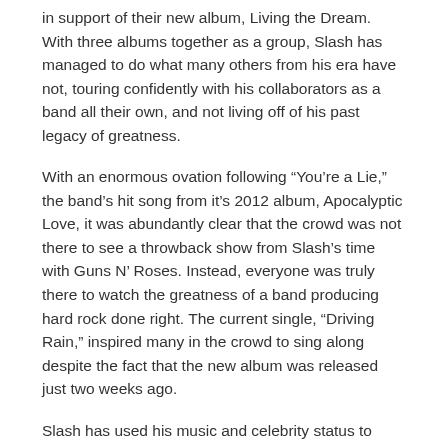in support of their new album, Living the Dream. With three albums together as a group, Slash has managed to do what many others from his era have not, touring confidently with his collaborators as a band all their own, and not living off of his past legacy of greatness.
With an enormous ovation following “You’re a Lie,” the band’s hit song from it’s 2012 album, Apocalyptic Love, it was abundantly clear that the crowd was not there to see a throwback show from Slash’s time with Guns N’ Roses. Instead, everyone was truly there to watch the greatness of a band producing hard rock done right. The current single, “Driving Rain,” inspired many in the crowd to sing along despite the fact that the new album was released just two weeks ago.
Slash has used his music and celebrity status to promote animal welfare programs, specifically those benefiting elephants. The song “Beneath a Savage Sun” has grooves much heavier than most of their other tracks, along with its lyrics about elephant poaching and ivory trade, and the performance done beneath harsh red and yellow stage lighting made the number a standout of the night.
Following the departure of Scott Weiland from Velvet Revolver, Slash published a self-titled solo record using different singers on each track. Slash with Myles Kennedy and the Conspirators performed quite a few